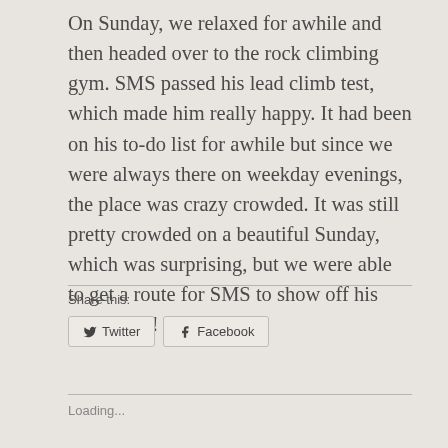On Sunday, we relaxed for awhile and then headed over to the rock climbing gym.  SMS passed his lead climb test, which made him really happy.  It had been on his to-do list for awhile but since we were always there on weekday evenings, the place was crazy crowded.  It was still pretty crowded on a beautiful Sunday, which was surprising, but we were able to get a route for SMS to show off his mad skills!
Share this:
Twitter
Facebook
Loading...